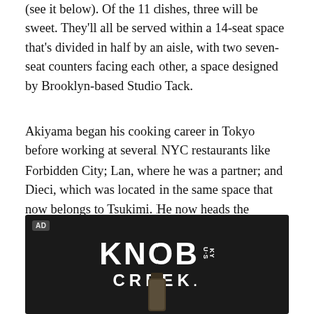(see it below). Of the 11 dishes, three will be sweet. They'll all be served within a 14-seat space that's divided in half by an aisle, with two seven-seat counters facing each other, a space designed by Brooklyn-based Studio Tack.
Akiyama began his cooking career in Tokyo before working at several NYC restaurants like Forbidden City; Lan, where he was a partner; and Dieci, which was located in the same space that now belongs to Tsukimi. He now heads the kitchens at SakaMai and Bar Moga, where Lin is also general manager.
[Figure (photo): Advertisement for Knob Creek bourbon on a dark background. Shows 'AD' label in top-left corner, the KNOB CREEK logo in large white bold text, and the bottom of a bottle visible at the bottom center.]